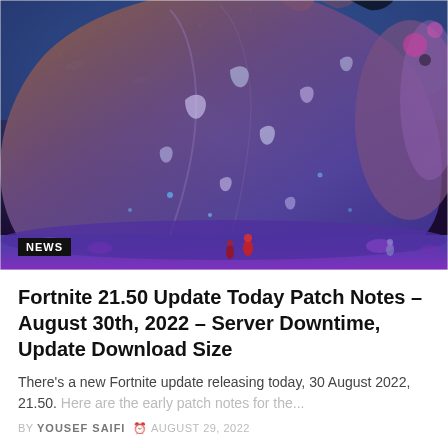[Figure (screenshot): Fortnite game screenshot showing a large colorful fantasy landscape with a massive creature or structure in purple and brown tones, small characters visible at the bottom, blue sky with floating elements. A 'NEWS' badge is overlaid in the bottom-left corner.]
Fortnite 21.50 Update Today Patch Notes – August 30th, 2022 – Server Downtime, Update Download Size
There's a new Fortnite update releasing today, 30 August 2022, 21.50. Here are the early patch notes for the...
BY YOUSEF SAIFI  AUGUST 29, 2022